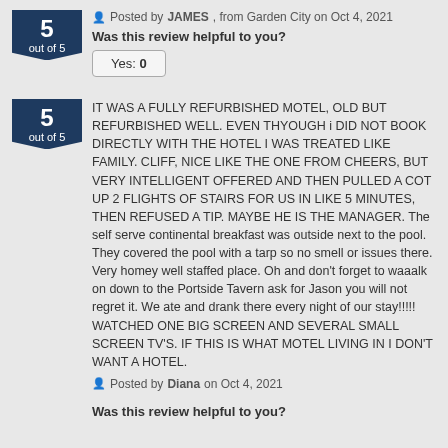Posted by JAMES, from Garden City on Oct 4, 2021
Was this review helpful to you?
Yes: 0
IT WAS A FULLY REFURBISHED MOTEL, OLD BUT REFURBISHED WELL. EVEN THYOUGH i DID NOT BOOK DIRECTLY WITH THE HOTEL I WAS TREATED LIKE FAMILY. CLIFF, NICE LIKE THE ONE FROM CHEERS, BUT VERY INTELLIGENT OFFERED AND THEN PULLED A COT UP 2 FLIGHTS OF STAIRS FOR US IN LIKE 5 MINUTES, THEN REFUSED A TIP. MAYBE HE IS THE MANAGER. The self serve continental breakfast was outside next to the pool. They covered the pool with a tarp so no smell or issues there. Very homey well staffed place. Oh and don't forget to waaalk on down to the Portside Tavern ask for Jason you will not regret it. We ate and drank there every night of our stay!!!!! WATCHED ONE BIG SCREEN AND SEVERAL SMALL SCREEN TV'S. IF THIS IS WHAT MOTEL LIVING IN I DON'T WANT A HOTEL.
Posted by Diana on Oct 4, 2021
Was this review helpful to you?